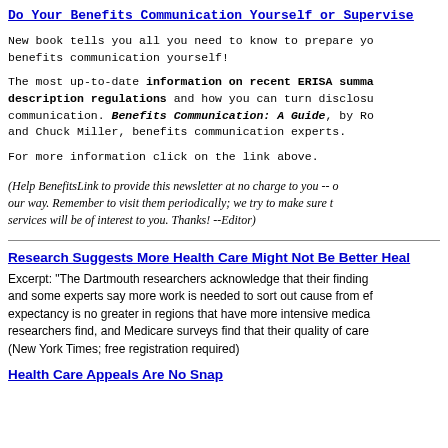Do Your Benefits Communication Yourself or Supervise
New book tells you all you need to know to prepare your benefits communication yourself!
The most up-to-date information on recent ERISA summary plan description regulations and how you can turn disclosure into effective communication. Benefits Communication: A Guide, by Ro and Chuck Miller, benefits communication experts.
For more information click on the link above.
(Help BenefitsLink to provide this newsletter at no charge to you -- our way. Remember to visit them periodically; we try to make sure their services will be of interest to you. Thanks! --Editor)
Research Suggests More Health Care Might Not Be Better Health
Excerpt: "The Dartmouth researchers acknowledge that their findings and some experts say more work is needed to sort out cause from effect. expectancy is no greater in regions that have more intensive medical care, researchers find, and Medicare surveys find that their quality of care (New York Times; free registration required)
Health Care Appeals Are No Snap